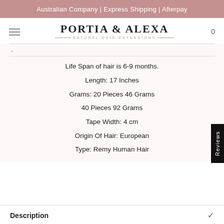Australian Company | Express Shipping | Afterpay
[Figure (logo): Portia & Alexa Natural Hair Extensions logo with hamburger menu and cart icon showing 0 items]
Life Span of hair is 6-9 months.
Length: 17 Inches
Grams: 20 Pieces 46 Grams
40 Pieces 92 Grams
Tape Width: 4 cm
Origin Of Hair: European
Type: Remy Human Hair
Description